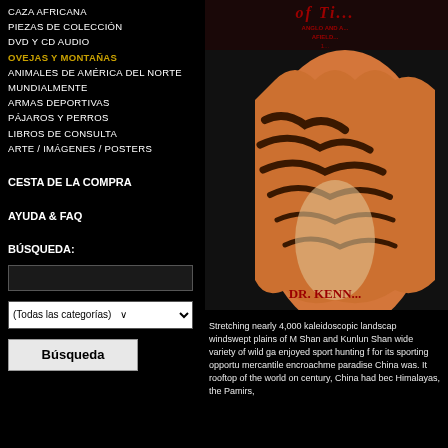CAZA AFRICANA
PIEZAS DE COLECCIÓN
DVD Y CD AUDIO
OVEJAS Y MONTAÑAS
ANIMALES DE AMÉRICA DEL NORTE
MUNDIALMENTE
ARMAS DEPORTIVAS
PÁJAROS Y PERROS
LIBROS DE CONSULTA
ARTE / IMÁGENES / POSTERS
CESTA DE LA COMPRA
AYUDA & FAQ
BÚSQUEDA:
[Figure (illustration): Book cover illustration showing a tiger, with title text and author DR. KENN...]
Stretching nearly 4,000 kaleidoscopic landscap windswept plains of M Shan and Kunlun Shan wide variety of wild ga enjoyed sport hunting f for its sporting opportu mercantile encroachme paradise China was. It rooftop of the world on century, China had bec Himalayas, the Pamirs,